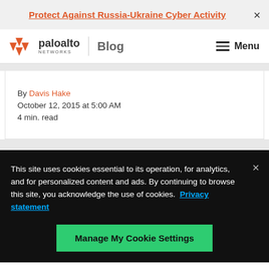Protect Against Russia-Ukraine Cyber Activity
[Figure (logo): Palo Alto Networks Blog logo with menu button]
By Davis Hake
October 12, 2015 at 5:00 AM
4 min. read
This site uses cookies essential to its operation, for analytics, and for personalized content and ads. By continuing to browse this site, you acknowledge the use of cookies. Privacy statement
Manage My Cookie Settings